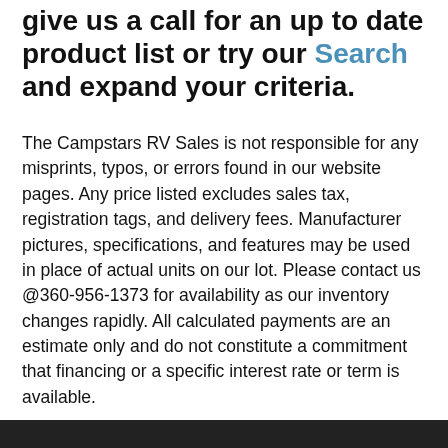give us a call for an up to date product list or try our Search and expand your criteria.
The Campstars RV Sales is not responsible for any misprints, typos, or errors found in our website pages. Any price listed excludes sales tax, registration tags, and delivery fees. Manufacturer pictures, specifications, and features may be used in place of actual units on our lot. Please contact us @360-956-1373 for availability as our inventory changes rapidly. All calculated payments are an estimate only and do not constitute a commitment that financing or a specific interest rate or term is available.